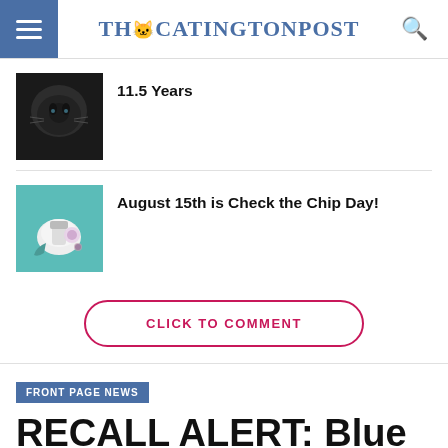THE CATINGTON POST
11.5 Years
August 15th is Check the Chip Day!
CLICK TO COMMENT
FRONT PAGE NEWS
RECALL ALERT: Blue Ridge